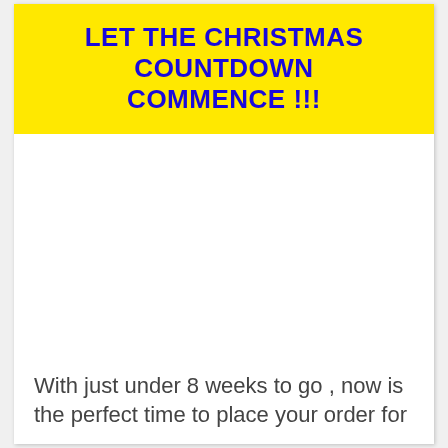LET THE CHRISTMAS COUNTDOWN COMMENCE !!!
With just under 8 weeks to go , now is the perfect time to place your order for